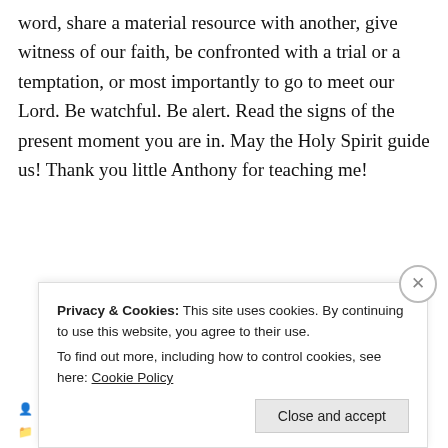word, share a material resource with another, give witness of our faith, be confronted with a trial or a temptation, or most importantly to go to meet our Lord. Be watchful. Be alert. Read the signs of the present moment you are in. May the Holy Spirit guide us! Thank you little Anthony for teaching me!
Caritas in Veritate
Catholic Life, Current Events, Sacred Scripture
Leave a comment   October 26, 2018
3 Minutes
Privacy & Cookies: This site uses cookies. By continuing to use this website, you agree to their use.
To find out more, including how to control cookies, see here: Cookie Policy
Close and accept